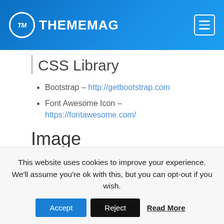THEMEMAG
CSS Library
Bootstrap – http://getbootstrap.com
Font Awesome Icon – https://fontawesome.com/
Image
Unsplash – https://unsplash.com
Pexels – https://pexels.com
PixaBay – https://pixabay.com
isometric – https://isometric.online/
Note: This item is a static Nextjs template, It is not a
This website uses cookies to improve your experience. We'll assume you're ok with this, but you can opt-out if you wish.